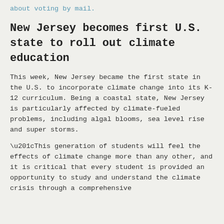about voting by mail.
New Jersey becomes first U.S. state to roll out climate education
This week, New Jersey became the first state in the U.S. to incorporate climate change into its K-12 curriculum. Being a coastal state, New Jersey is particularly affected by climate-fueled problems, including algal blooms, sea level rise and super storms.
“This generation of students will feel the effects of climate change more than any other, and it is critical that every student is provided an opportunity to study and understand the climate crisis through a comprehensive